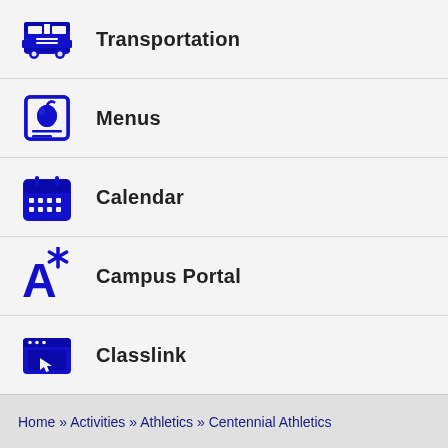Transportation
Menus
Calendar
Campus Portal
Classlink
FCS Tip Line
Home » Activities » Athletics » Centennial Athletics